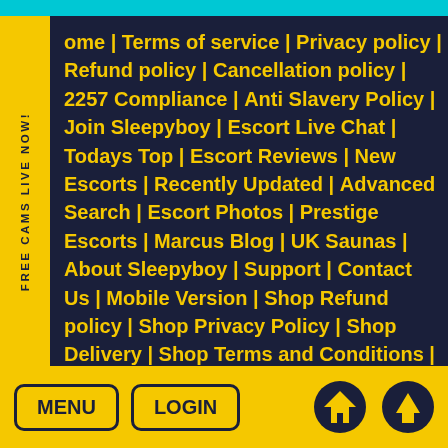FREE CAMS LIVE NOW!
Home | Terms of service | Privacy policy | Refund policy | Cancellation policy | 2257 Compliance | Anti Slavery Policy | Join Sleepyboy | Escort Live Chat | Todays Top | Escort Reviews | New Escorts | Recently Updated | Advanced Search | Escort Photos | Prestige Escorts | Marcus Blog | UK Saunas | About Sleepyboy | Support | Contact Us | Mobile Version | Shop Refund policy | Shop Privacy Policy | Shop Delivery | Shop Terms and Conditions | Chatroom
Chatrooms ©
All escorts are Independent, Sleepyboy.com cannot arrange meets on your behalf | Sleepyboy Copyright © 2022
This site is for users age 18+
Sleepypro SL
MENU   LOGIN